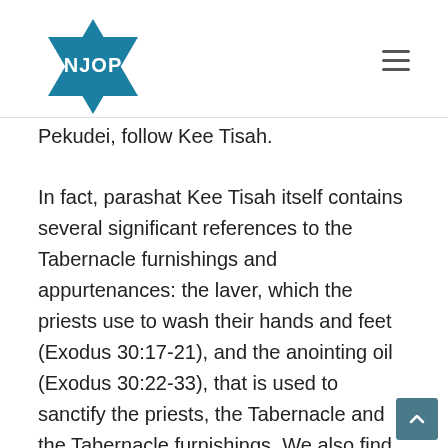NJOP
Pekudei, follow Kee Tisah.
In fact, parashat Kee Tisah itself contains several significant references to the Tabernacle furnishings and appurtenances: the laver, which the priests use to wash their hands and feet (Exodus 30:17-21), and the anointing oil (Exodus 30:22-33), that is used to sanctify the priests, the Tabernacle and the Tabernacle furnishings. We also find in Kee Tisah instructions regarding the preparation of